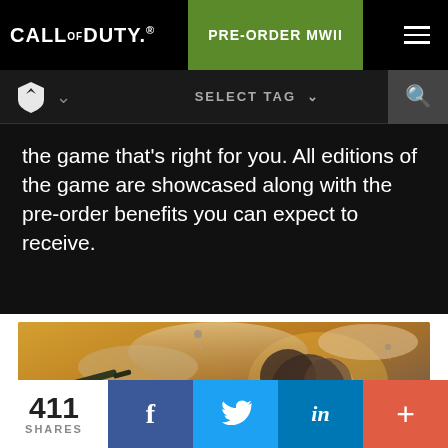CALL OF DUTY®  PRE-ORDER MWII
the game that's right for you. All editions of the game are showcased along with the pre-order benefits you can expect to receive.
[Figure (photo): Call of Duty game screenshot showing soldiers with weapons and a helicopter against a dramatic sky with orange/golden lighting]
411 SHARES  f  (Twitter bird)  in  +